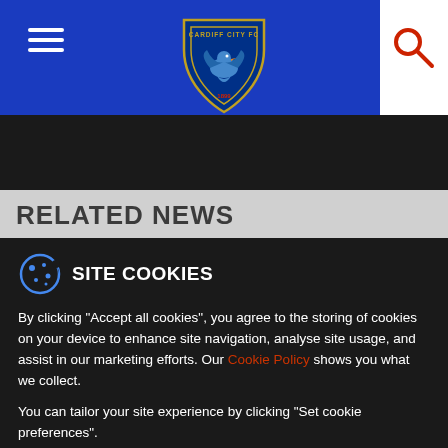[Figure (logo): Cardiff City FC shield crest logo centered in header]
RELATED NEWS
SITE COOKIES
By clicking “Accept all cookies”, you agree to the storing of cookies on your device to enhance site navigation, analyse site usage, and assist in our marketing efforts. Our Cookie Policy shows you what we collect.
You can tailor your site experience by clicking "Set cookie preferences".
Accept all cookies
Set Cookie Preferences